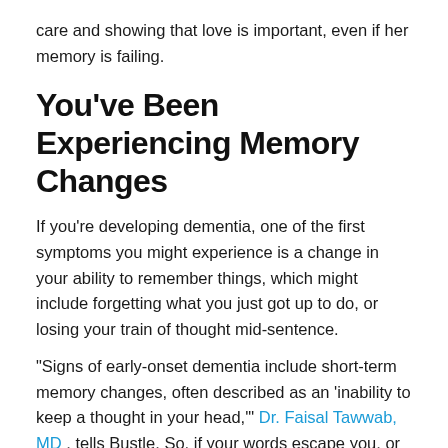care and showing that love is important, even if her memory is failing.
You’ve Been Experiencing Memory Changes
If you’re developing dementia, one of the first symptoms you might experience is a change in your ability to remember things, which might include forgetting what you just got up to do, or losing your train of thought mid-sentence.
“Signs of early-onset dementia include short-term memory changes, often described as an ‘inability to keep a thought in your head,’” Dr. Faisal Tawwab, MD , tells Bustle. So, if your words escape you, or you’ve suddenly become super forgetful, take note.